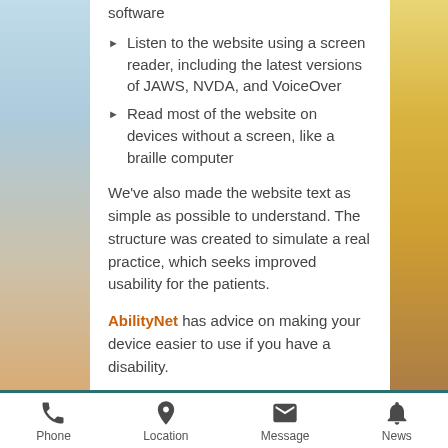software
Listen to the website using a screen reader, including the latest versions of JAWS, NVDA, and VoiceOver
Read most of the website on devices without a screen, like a braille computer
We've also made the website text as simple as possible to understand. The structure was created to simulate a real practice, which seeks improved usability for the patients.
AbilityNet has advice on making your device easier to use if you have a disability.
How accessible this website is
Phone | Location | Message | News